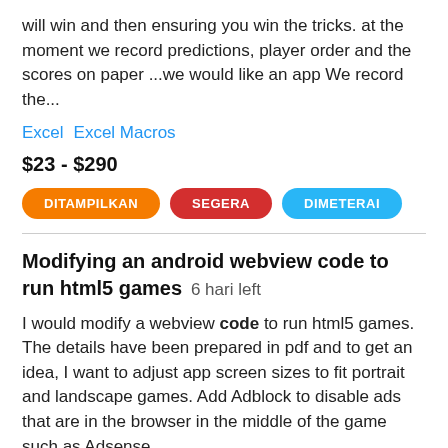will win and then ensuring you win the tricks. at the moment we record predictions, player order and the scores on paper ...we would like an app We record the...
Excel   Excel Macros
$23 - $290
DITAMPILKAN   SEGERA   DIMETERAI
Modifying an android webview code to run html5 games  6 hari left
I would modify a webview code to run html5 games. The details have been prepared in pdf and to get an idea, I want to adjust app screen sizes to fit portrait and landscape games. Add Adblock to disable ads that are in the browser in the middle of the game such as Adsense.....
Android   HTML5   JavaScript   Mobile App Development   PHP